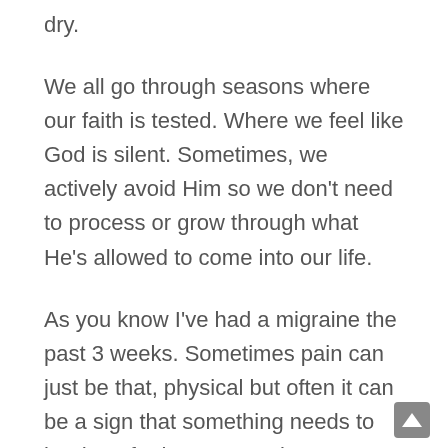dry.
We all go through seasons where our faith is tested. Where we feel like God is silent. Sometimes, we actively avoid Him so we don't need to process or grow through what He's allowed to come into our life.
As you know I've had a migraine the past 3 weeks. Sometimes pain can just be that, physical but often it can be a sign that something needs to be done further. So I took a step back from looking at the computer so much and once I sunk into the emotion I realised I was really angry.